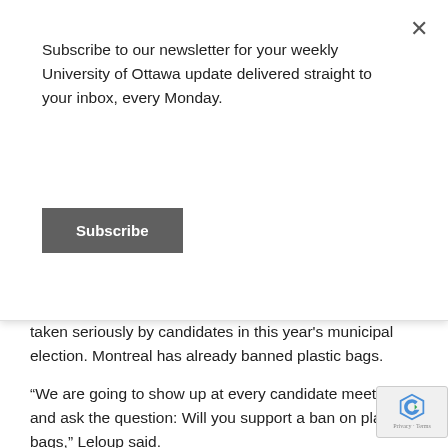Subscribe to our newsletter for your weekly University of Ottawa update delivered straight to your inbox, every Monday.
Subscribe
taken seriously by candidates in this year's municipal election. Montreal has already banned plastic bags.
“We are going to show up at every candidate meeting and ask the question: Will you support a ban on plastic bags,” Leloup said.
Although most students shop at big-box grocery stores, there’s still a lot that we can do to reduce our waste. Leloup pointed out that produce and other foods are sold in bulk, and it’s easy to eliminate plastic produce bags by using reusable bags. She also encouraged buying brands that use